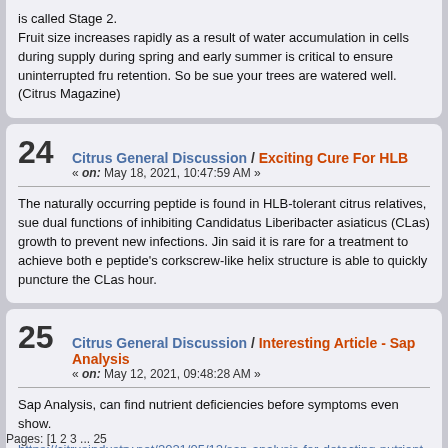is called Stage 2.
Fruit size increases rapidly as a result of water accumulation in cells during supply during spring and early summer is critical to ensure uninterrupted fru retention. So be sue your trees are watered well.  (Citrus Magazine)
24  Citrus General Discussion / Exciting Cure For HLB
« on: May 18, 2021, 10:47:59 AM »
The naturally occurring peptide is found in HLB-tolerant citrus relatives, sue dual functions of inhibiting Candidatus Liberibacter asiaticus (CLas) growth to prevent new infections. Jin said it is rare for a treatment to achieve both e peptide's corkscrew-like helix structure is able to quickly puncture the CLas hour.
25  Citrus General Discussion / Interesting Article - Sap Analysis
« on: May 12, 2021, 09:48:28 AM »
Sap Analysis, can find nutrient deficiencies before symptoms even show.
https://citrusindustry.net/2021/05/12/sap-analysis-for-detecting-nutrient-leve
Pages: [1 2 3 ... 25